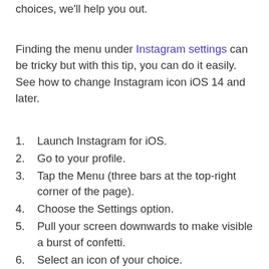choices, we’ll help you out.
Finding the menu under Instagram settings can be tricky but with this tip, you can do it easily. See how to change Instagram icon iOS 14 and later.
Launch Instagram for iOS.
Go to your profile.
Tap the Menu (three bars at the top-right corner of the page).
Choose the Settings option.
Pull your screen downwards to make visible a burst of confetti.
Select an icon of your choice.
Check the Select option.